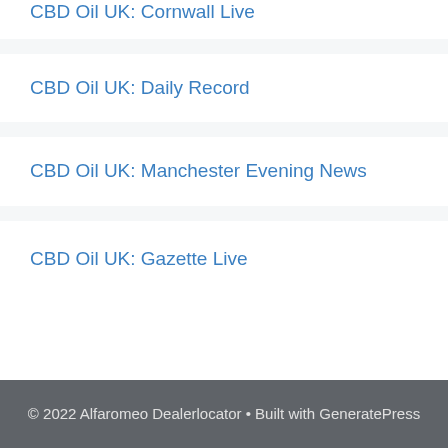CBD Oil UK: Cornwall Live
CBD Oil UK: Daily Record
CBD Oil UK: Manchester Evening News
CBD Oil UK: Gazette Live
© 2022 Alfaromeo Dealerlocator • Built with GeneratePress